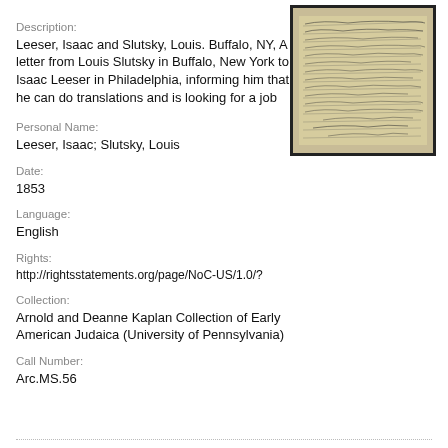Description:
Leeser, Isaac and Slutsky, Louis. Buffalo, NY, A letter from Louis Slutsky in Buffalo, New York to Isaac Leeser in Philadelphia, informing him that he can do translations and is looking for a job
[Figure (photo): Photograph of a handwritten manuscript letter]
Personal Name:
Leeser, Isaac; Slutsky, Louis
Date:
1853
Language:
English
Rights:
http://rightsstatements.org/page/NoC-US/1.0/?
Collection:
Arnold and Deanne Kaplan Collection of Early American Judaica (University of Pennsylvania)
Call Number:
Arc.MS.56